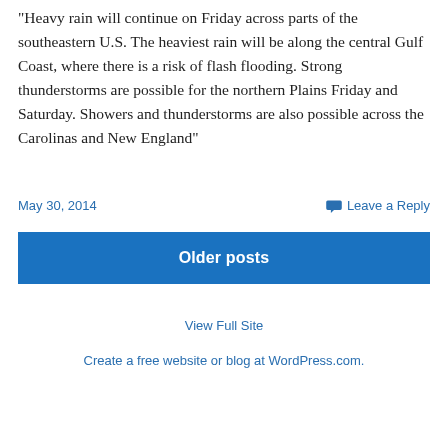“Heavy rain will continue on Friday across parts of the southeastern U.S. The heaviest rain will be along the central Gulf Coast, where there is a risk of flash flooding. Strong thunderstorms are possible for the northern Plains Friday and Saturday. Showers and thunderstorms are also possible across the Carolinas and New England”
May 30, 2014
Leave a Reply
Older posts
View Full Site
Create a free website or blog at WordPress.com.